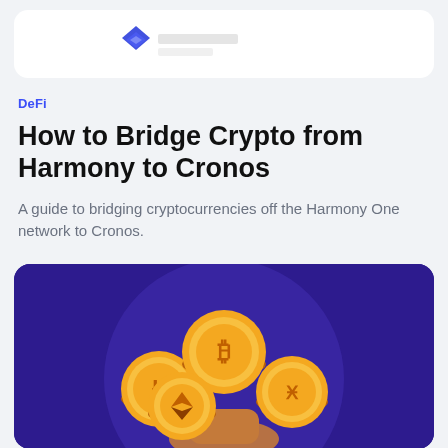[Figure (logo): Crypto/DeFi website logo — blue geometric diamond shape with partial text visible on white card]
DeFi
How to Bridge Crypto from Harmony to Cronos
A guide to bridging cryptocurrencies off the Harmony One network to Cronos.
[Figure (illustration): Illustration on dark purple background showing golden cryptocurrency coins (Bitcoin, Ethereum/Litecoin, and others) being held up by a hand, arranged in an arc, on a circular lighter purple backdrop]